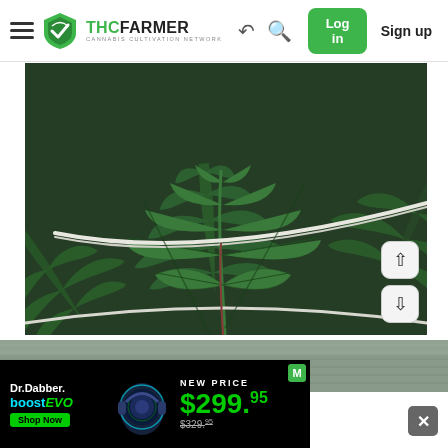THCFarmer - Cannabis Cultivation Network | Log in | Sign up
[Figure (photo): Close-up photograph of cannabis plant leaves, dark green foliage with a white string or wire visible across the frame. Taken from below looking up at the fan leaves.]
[Figure (photo): Partial view of a second cannabis grow image, showing a grey/silver reflective grow tent material at the bottom.]
[Figure (other): Dr.Dabber boost evo advertisement banner. Text reads: Dr.Dabber. boost evo Shop Now | NEW PRICE $299.95 (was $329.95)]